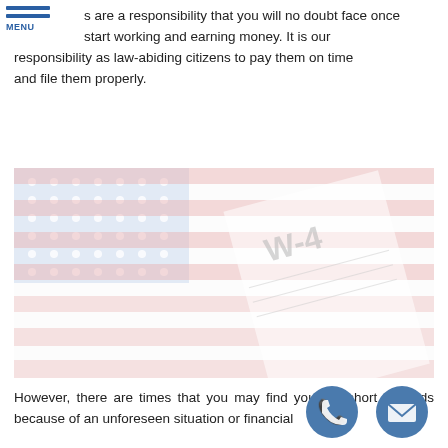MENU
s are a responsibility that you will no doubt face once start working and earning money. It is our responsibility as law-abiding citizens to pay them on time and file them properly.
[Figure (photo): Faded photo of an American flag overlaid with a W-4 tax form in the background]
However, there are times that you may find yourself short of funds because of an unforeseen situation or financial